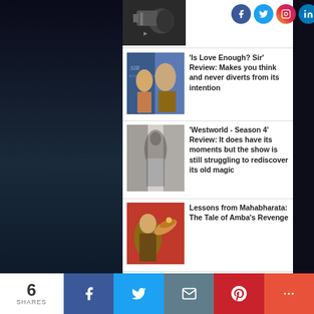[Figure (photo): Partial top article thumbnail - film/camera crew black and white photo]
[Figure (photo): Social media icons: Facebook, Twitter, Instagram, LinkedIn]
'Is Love Enough? Sir' Review: Makes you think and never diverts from its intention
[Figure (photo): Movie poster for 'Is Love Enough? Sir' - man and woman in blue tones]
'Westworld - Season 4' Review: It does have its moments but the show is still struggling to rediscover its old magic
[Figure (photo): Westworld Season 4 still - dark figure against wall]
Lessons from Mahabharata: The Tale of Amba's Revenge
[Figure (photo): Illustration of woman in traditional Indian attire on red background]
6 SHARES
[Figure (infographic): Share bar with Facebook, Twitter, Email, Pinterest, More buttons]